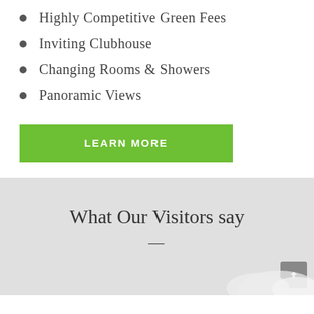Highly Competitive Green Fees
Inviting Clubhouse
Changing Rooms & Showers
Panoramic Views
LEARN MORE
What Our Visitors say
—